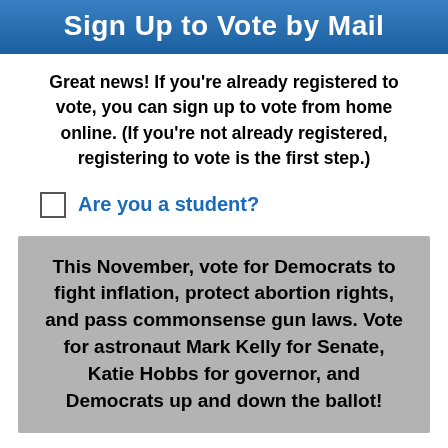Sign Up to Vote by Mail
Great news! If you’re already registered to vote, you can sign up to vote from home online. (If you’re not already registered, registering to vote is the first step.)
Are you a student?
This November, vote for Democrats to fight inflation, protect abortion rights, and pass commonsense gun laws. Vote for astronaut Mark Kelly for Senate, Katie Hobbs for governor, and Democrats up and down the ballot!